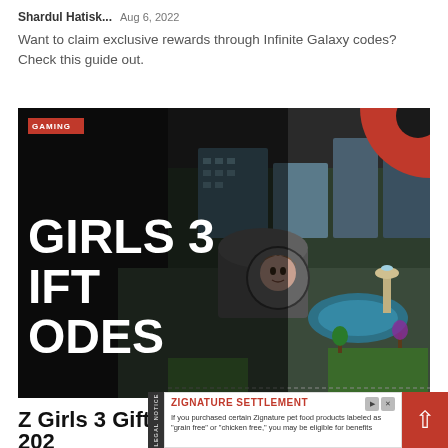Shardul Hatisk...  Aug 6, 2022
Want to claim exclusive rewards through Infinite Galaxy codes? Check this guide out.
[Figure (screenshot): Game screenshot thumbnail for Z Girls 3 Gift Codes article, with red GAMING badge in top-left, bold white text overlay reading 'GIRLS 3 IFT ODES' on dark background, isometric city/building game scene, partial red circle top-right]
Z Girls 3 Gift Codes Wiki (August 2022
ZIGNATURE SETTLEMENT — If you purchased certain Zignature pet food products labeled as "grain free" or "chicken free," you may be eligible for benefits